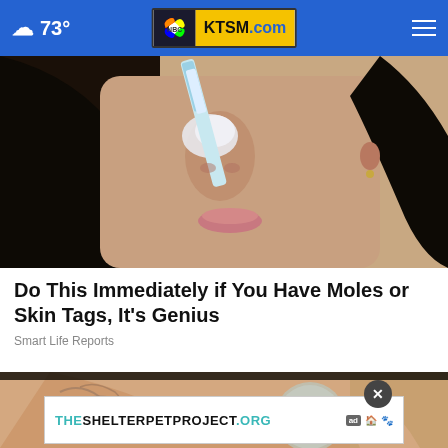☁ 73° | KTSM.com
[Figure (photo): Close-up photo of a woman with dark hair brushing her nose with a toothbrush, skin care related image]
Do This Immediately if You Have Moles or Skin Tags, It's Genius
Smart Life Reports
[Figure (photo): Partial photo of a person's back/shoulder with tattoos and a hand mirror visible]
THESHELTERPETPROJECT.ORG